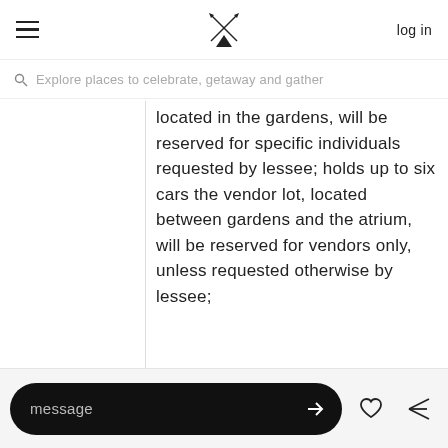log in
Explore places to celebrate, getaway and gather
located in the gardens, will be reserved for specific individuals requested by lessee; holds up to six cars the vendor lot, located between gardens and the atrium, will be reserved for vendors only, unless requested otherwise by lessee;
message